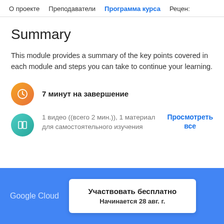О проекте   Преподаватели   Программа курса   Рецен:
Summary
This module provides a summary of the key points covered in each module and steps you can take to continue your learning.
7 минут на завершение
1 видео ((всего 2 мин.)), 1 материал для самостоятельного изучения   Просмотреть все
Google Cloud   Участвовать бесплатно   Начинается 28 авг. г.